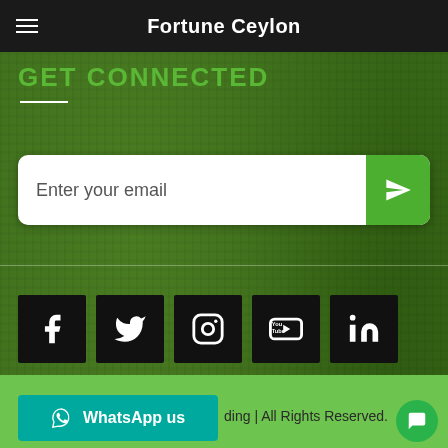Fortune Ceylon
GET CONNECTED
Enter your email
[Figure (infographic): Social media icons row: Facebook, Twitter, Instagram, YouTube, LinkedIn — each in a black square button]
ding | All Rights Reserved.
WhatsApp us